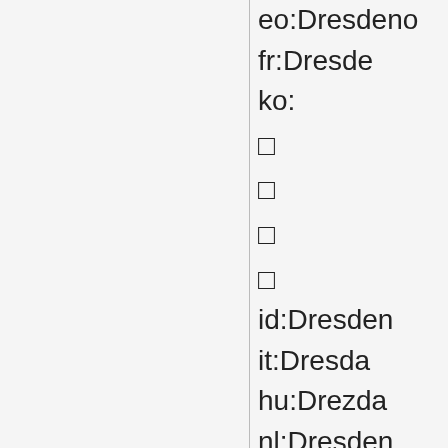eo:Dresdeno
fr:Dresde
ko:
�
�
�
�
id:Dresden
it:Dresda
hu:Drezda
nl:Dresden
nds:Dresden
ja:
�
�
�